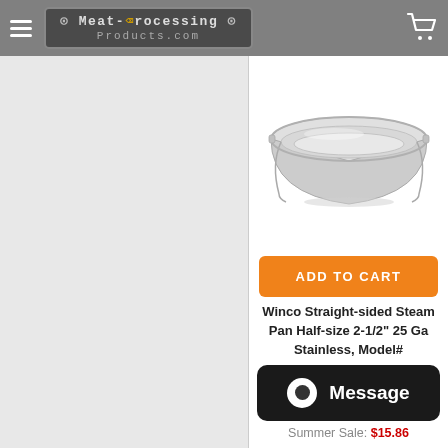Meat-Processing Products.com
[Figure (photo): Stainless steel half-size steam pan, straight-sided, 2-1/2 inch depth, photographed from above at angle showing rectangular pan with rolled edges]
ADD TO CART
Winco Straight-sided Steam Pan Half-size 2-1/2" 25 Ga Stainless, Model#
Message
Summer Sale: $15.86